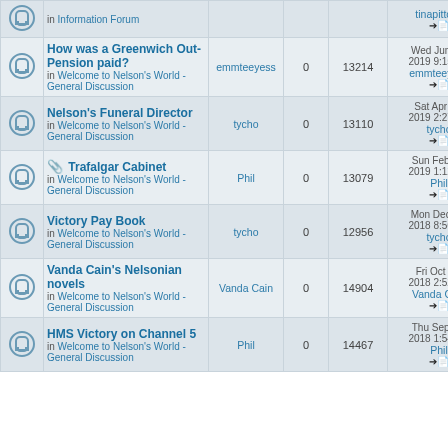|  | Topic | Author | Replies | Views | Last post |
| --- | --- | --- | --- | --- | --- |
|  | How was a Greenwich Out-Pension paid? in Welcome to Nelson's World - General Discussion | emmteeyess | 0 | 13214 | Wed Jun 19, 2019 9:15 am emmteeyess |
|  | Nelson's Funeral Director in Welcome to Nelson's World - General Discussion | tycho | 0 | 13110 | Sat Apr 20, 2019 2:27 pm tycho |
|  | Trafalgar Cabinet in Welcome to Nelson's World - General Discussion | Phil | 0 | 13079 | Sun Feb 10, 2019 1:12 pm Phil |
|  | Victory Pay Book in Welcome to Nelson's World - General Discussion | tycho | 0 | 12956 | Mon Dec 17, 2018 8:56 pm tycho |
|  | Vanda Cain's Nelsonian novels in Welcome to Nelson's World - General Discussion | Vanda Cain | 0 | 14904 | Fri Oct 05, 2018 2:52 pm Vanda Cain |
|  | HMS Victory on Channel 5 in Welcome to Nelson's World - General Discussion | Phil | 0 | 14467 | Thu Sep 13, 2018 1:54 pm Phil |